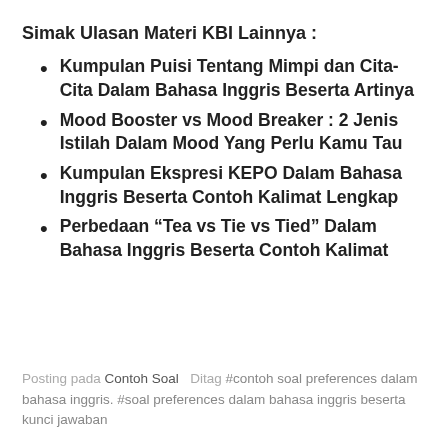Simak Ulasan Materi KBI Lainnya :
Kumpulan Puisi Tentang Mimpi dan Cita-Cita Dalam Bahasa Inggris Beserta Artinya
Mood Booster vs Mood Breaker : 2 Jenis Istilah Dalam Mood Yang Perlu Kamu Tau
Kumpulan Ekspresi KEPO Dalam Bahasa Inggris Beserta Contoh Kalimat Lengkap
Perbedaan “Tea vs Tie vs Tied” Dalam Bahasa Inggris Beserta Contoh Kalimat
Posting pada Contoh Soal   Ditag #contoh soal preferences dalam bahasa inggris. #soal preferences dalam bahasa inggris beserta kunci jawaban